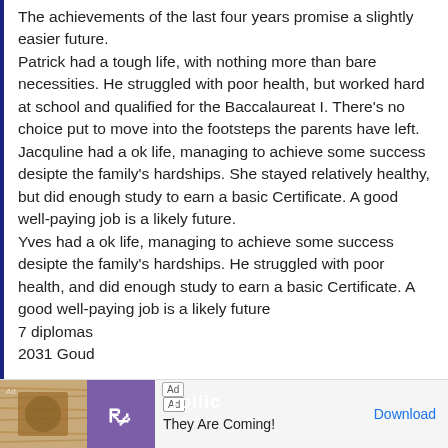The achievements of the last four years promise a slightly easier future. Patrick had a tough life, with nothing more than bare necessities. He struggled with poor health, but worked hard at school and qualified for the Baccalaureat I. There's no choice put to move into the footsteps the parents have left. Jacquline had a ok life, managing to achieve some success desipte the family's hardships. She stayed relatively healthy, but did enough study to earn a basic Certificate. A good well-paying job is a likely future. Yves had a ok life, managing to achieve some success desipte the family's hardships. He struggled with poor health, and did enough study to earn a basic Certificate. A good well-paying job is a likely future
7 diplomas
2031 Goud
[Figure (other): Advertisement banner at the bottom of the page. Shows 'Ad' label, a wood-textured image on the left, a purple Rollic logo, and text 'They Are Coming!' with a 'Download' link.]